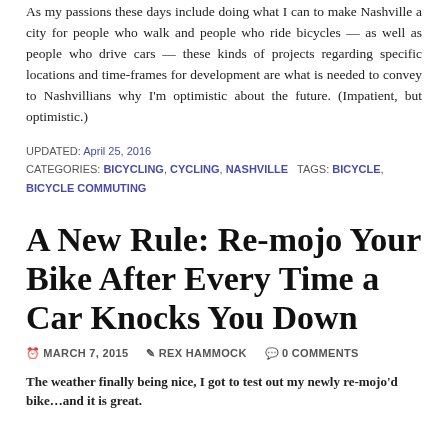As my passions these days include doing what I can to make Nashville a city for people who walk and people who ride bicycles — as well as people who drive cars — these kinds of projects regarding specific locations and time-frames for development are what is needed to convey to Nashvillians why I'm optimistic about the future. (Impatient, but optimistic.)
UPDATED: April 25, 2016
CATEGORIES: BICYCLING, CYCLING, NASHVILLE   TAGS: BICYCLE, BICYCLE COMMUTING
A New Rule: Re-mojo Your Bike After Every Time a Car Knocks You Down
MARCH 7, 2015   REX HAMMOCK   0 COMMENTS
The weather finally being nice, I got to test out my newly re-mojo'd bike…and it is great.